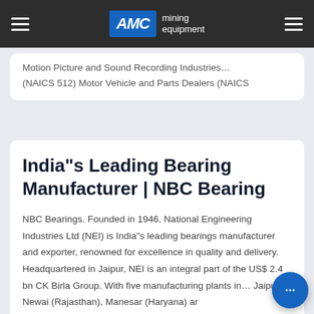AMC mining equipment
Motion Picture and Sound Recording Industries... (NAICS 512) Motor Vehicle and Parts Dealers (NAICS
India"s Leading Bearing Manufacturer | NBC Bearing
NBC Bearings. Founded in 1946, National Engineering Industries Ltd (NEI) is India"s leading bearings manufacturer and exporter, renowned for excellence in quality and delivery. Headquartered in Jaipur, NEI is an integral part of the US$ 2.4 bn CK Birla Group. With five manufacturing plants in... Jaipur, Newai (Rajasthan), Manesar (Haryana) ar